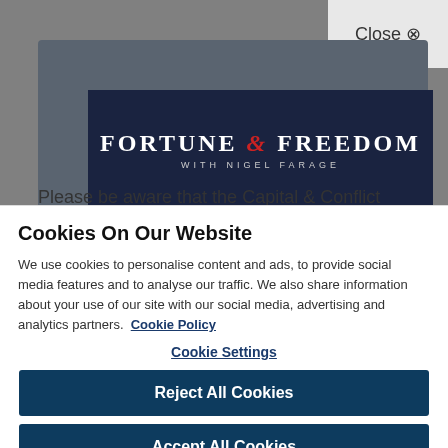[Figure (screenshot): Fortune & Freedom with Nigel Farage website banner logo on dark navy background with greyed-out page behind]
Please be aware that the Capital & Conflict website is no longer being updated
Cookies On Our Website
We use cookies to personalise content and ads, to provide social media features and to analyse our traffic. We also share information about your use of our site with our social media, advertising and analytics partners. Cookie Policy
Cookie Settings
Reject All Cookies
Accept All Cookies